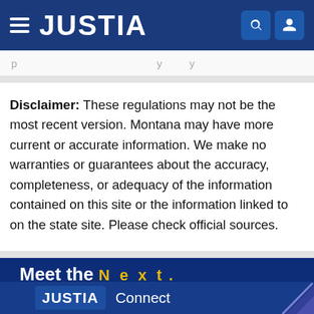JUSTIA
...p...y y
Disclaimer: These regulations may not be the most recent version. Montana may have more current or accurate information. We make no warranties or guarantees about the accuracy, completeness, or adequacy of the information contained on this site or the information linked to on the state site. Please check official sources.
[Figure (infographic): Justia promotional banner: 'Meet the Next .' with 'JUSTIA Connect' logo and decorative graphic element on blue background]